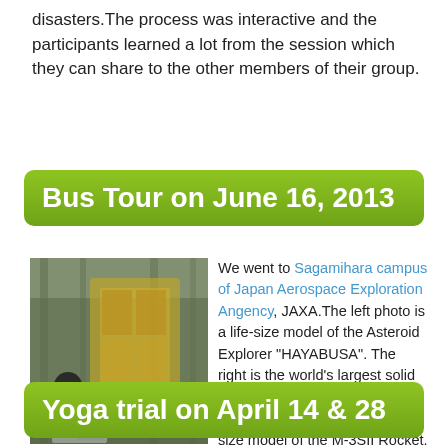disasters.The process was interactive and the participants learned a lot from the session which they can share to the other members of their group.
Bus Tour on June 16, 2013
[Figure (photo): Photo of a person working near a spacecraft or rocket model at JAXA Sagamihara campus]
We went to Sagamihara campus of Japan Aerospace Exploration Angency, JAXA.The left photo is a life-size model of the Asteroid Explorer “HAYABUSA”. The right is the world's largest solid propellant launch vehicle M-V Rocket (real vehicle) and a life-size model of the M-3SII Rocket.
Yoga trial on April 14 & 28